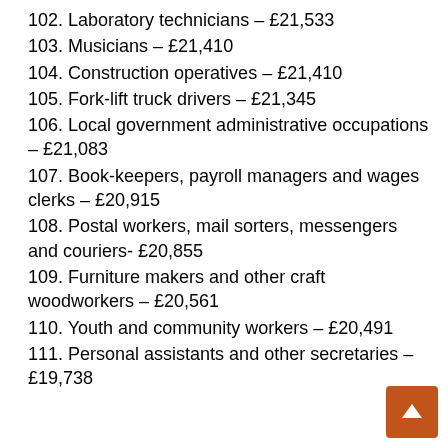102. Laboratory technicians – £21,533
103. Musicians – £21,410
104. Construction operatives – £21,410
105. Fork-lift truck drivers – £21,345
106. Local government administrative occupations – £21,083
107. Book-keepers, payroll managers and wages clerks – £20,915
108. Postal workers, mail sorters, messengers and couriers- £20,855
109. Furniture makers and other craft woodworkers – £20,561
110. Youth and community workers – £20,491
111. Personal assistants and other secretaries – £19,738